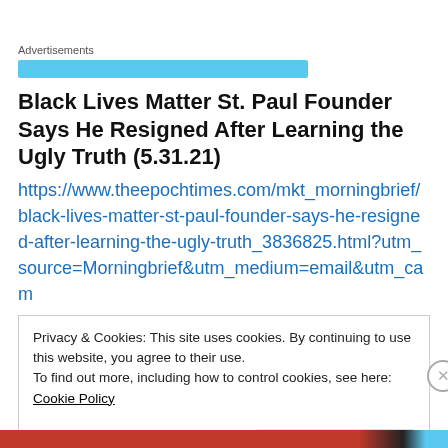Advertisements
Black Lives Matter St. Paul Founder Says He Resigned After Learning the Ugly Truth (5.31.21)
https://www.theepochtimes.com/mkt_morningbrief/black-lives-matter-st-paul-founder-says-he-resigned-after-learning-the-ugly-truth_3836825.html?utm_source=Morningbrief&utm_medium=email&utm_cam
Privacy & Cookies: This site uses cookies. By continuing to use this website, you agree to their use.
To find out more, including how to control cookies, see here: Cookie Policy